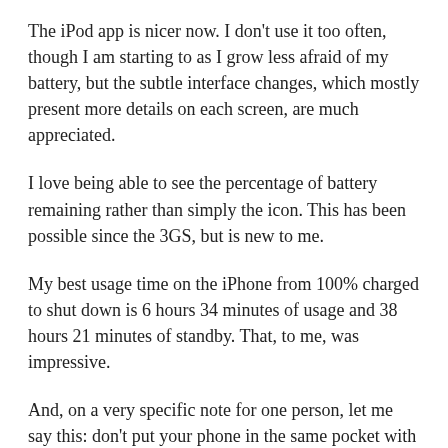The iPod app is nicer now.  I don't use it too often, though I am starting to as I grow less afraid of my battery, but the subtle interface changes, which mostly present more details on each screen, are much appreciated.
I love being able to see the percentage of battery remaining rather than simply the icon.  This has been possible since the 3GS, but is new to me.
My best usage time on the iPhone from 100% charged to shut down is 6 hours 34 minutes of usage and 38 hours 21 minutes of standby.  That, to me, was impressive.
And, on a very specific note for one person, let me say this: don't put your phone in the same pocket with your keys.  That would be stupid.